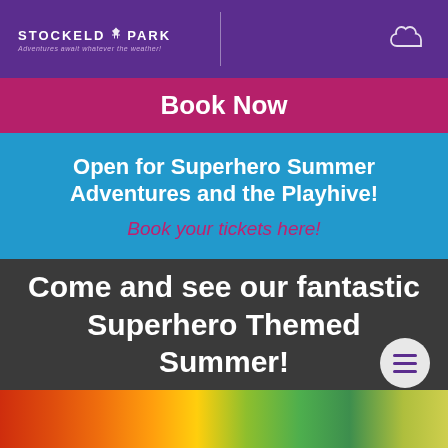STOCKELD PARK — Adventures await whatever the weather!
Book Now
Open for Superhero Summer Adventures and the Playhive!
Book your tickets here!
Come and see our fantastic Superhero Themed Summer!
[Figure (photo): Bottom strip showing colorful superhero-themed outdoor image]